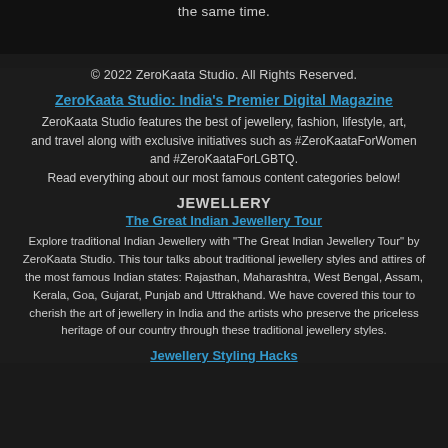the same time.
© 2022 ZeroKaata Studio. All Rights Reserved.
ZeroKaata Studio: India's Premier Digital Magazine
ZeroKaata Studio features the best of jewellery, fashion, lifestyle, art, and travel along with exclusive initiatives such as #ZeroKaataForWomen and #ZeroKaataForLGBTQ.
Read everything about our most famous content categories below!
JEWELLERY
The Great Indian Jewellery Tour
Explore traditional Indian Jewellery with "The Great Indian Jewellery Tour" by ZeroKaata Studio. This tour talks about traditional jewellery styles and attires of the most famous Indian states: Rajasthan, Maharashtra, West Bengal, Assam, Kerala, Goa, Gujarat, Punjab and Uttrakhand. We have covered this tour to cherish the art of jewellery in India and the artists who preserve the priceless heritage of our country through these traditional jewellery styles.
Jewellery Styling Hacks